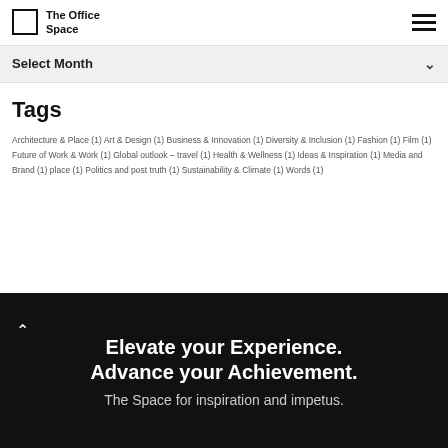The Office Space
Select Month
Tags
Architecture & Place (1) Art & Design (1) Business & Innovation (1) Diversity & Inclusion (1) Fashion (1) Film (1) Future of Work & Work (1) Global outlook – travel (1) Health & Wellness (1) Ideas & Inspiration (1) Media and Brand (1) place (1) Politics and post truth (1) Sustainability & Climate (1) Words (1)
Elevate your Experience. Advance your Achievement. The Space for inspiration and impetus.